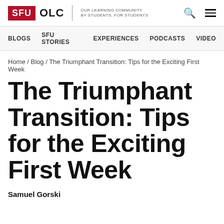SFU OLC | OUR LEARNING COMMUNITY BY STUDENTS, FOR STUDENTS
BLOGS  SFU STORIES  EXPERIENCES  PODCASTS  VIDEO
Home / Blog / The Triumphant Transition: Tips for the Exciting First Week
The Triumphant Transition: Tips for the Exciting First Week
Samuel Gorski